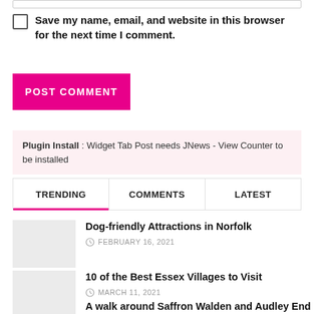Save my name, email, and website in this browser for the next time I comment.
POST COMMENT
Plugin Install : Widget Tab Post needs JNews - View Counter to be installed
TRENDING   COMMENTS   LATEST
Dog-friendly Attractions in Norfolk
FEBRUARY 16, 2021
10 of the Best Essex Villages to Visit
MARCH 11, 2021
A walk around Saffron Walden and Audley End Park